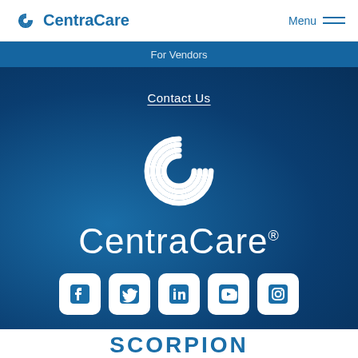CentraCare | Menu
For Vendors
Contact Us
[Figure (logo): CentraCare logo with swirl C icon and CentraCare wordmark in white on blue background]
[Figure (infographic): Social media icons: Facebook, Twitter, LinkedIn, YouTube, Instagram]
SCORPION